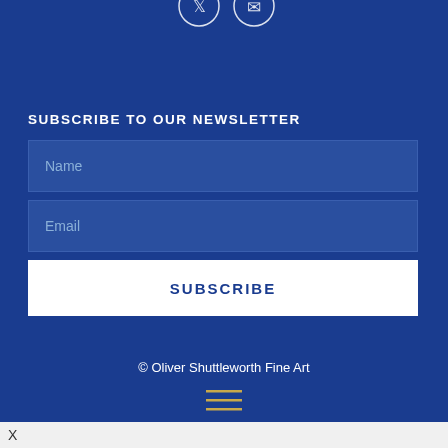[Figure (illustration): Social media icons (Twitter/X and another icon) partially visible at top of page on dark blue background]
SUBSCRIBE TO OUR NEWSLETTER
Name (input field placeholder)
Email (input field placeholder)
SUBSCRIBE
© Oliver Shuttleworth Fine Art
[Figure (illustration): Hamburger menu icon with three horizontal golden/tan lines]
X